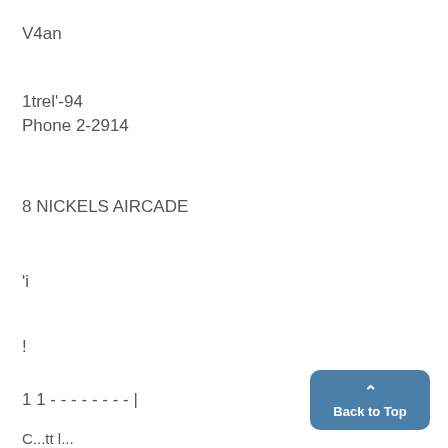V4an
1trel'-94
Phone 2-2914
8 NICKELS AIRCADE
'i
!
1 1 - - - - - - - - |
C...tt l... l... tfi... th t... l th l...